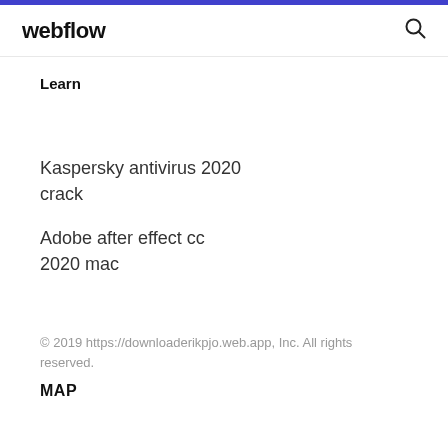webflow
Learn
Kaspersky antivirus 2020 crack
Adobe after effect cc 2020 mac
© 2019 https://downloaderikpjo.web.app, Inc. All rights reserved.
MAP